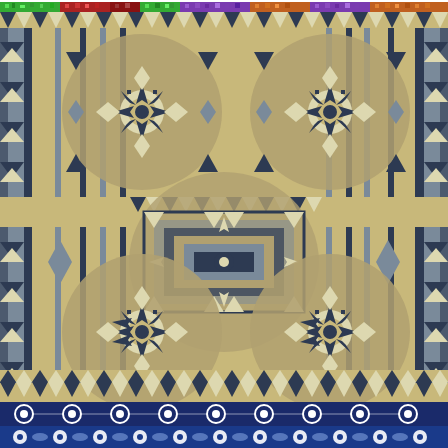[Figure (illustration): Colorful banner strip at top with multicolored geometric pixel-art pattern in green, red, blue, purple, orange tones]
[Figure (illustration): Large repeating Native American/Southwestern geometric textile pattern in navy blue, tan/khaki, cream, and slate gray colors featuring medallion circles, triangles, arrows, diamond shapes, and star motifs arranged in a symmetrical grid]
[Figure (illustration): Partial blue and white decorative floral/medallion pattern strip at very bottom of page]